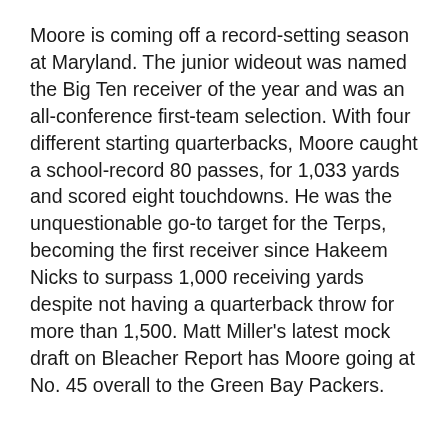Moore is coming off a record-setting season at Maryland. The junior wideout was named the Big Ten receiver of the year and was an all-conference first-team selection. With four different starting quarterbacks, Moore caught a school-record 80 passes, for 1,033 yards and scored eight touchdowns. He was the unquestionable go-to target for the Terps, becoming the first receiver since Hakeem Nicks to surpass 1,000 receiving yards despite not having a quarterback throw for more than 1,500. Matt Miller's latest mock draft on Bleacher Report has Moore going at No. 45 overall to the Green Bay Packers.